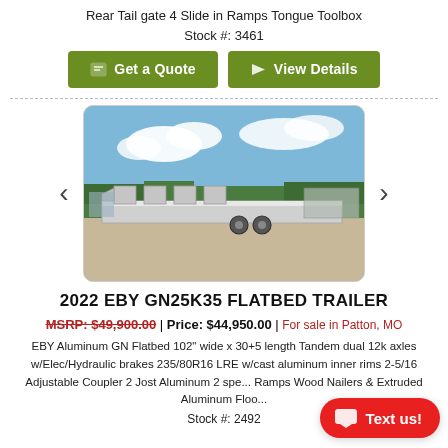Rear Tail gate 4 Slide in Ramps Tongue Toolbox
Stock #: 3461
[Figure (other): Two green call-to-action buttons: 'Get a Quote' and 'View Details']
[Figure (photo): Photo of a 2022 EBY GN25K35 flatbed trailer, silver/aluminum, parked outdoors with blue sky and trees in background]
2022 EBY GN25K35 FLATBED TRAILER
MSRP: $49,900.00 | Price: $44,950.00 | For sale in Patton, MO
EBY Aluminum GN Flatbed 102" wide x 30+5 length Tandem dual 12k axles w/Elec/Hydraulic brakes 235/80R16 LRE w/cast aluminum inner rims 2-5/16 Adjustable Coupler 2 Jost Aluminum 2 spe... Ramps Wood Nailers & Extruded Aluminum Floo...
Stock #: 2492